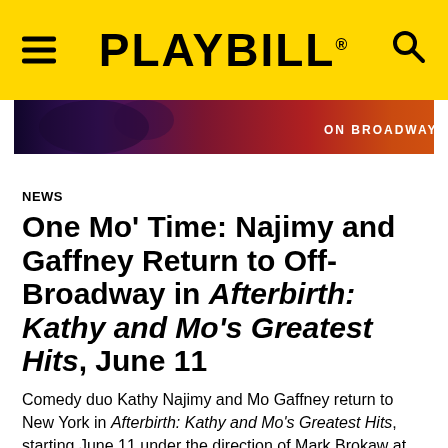PLAYBILL
[Figure (screenshot): Advertisement banner for a Broadway show with dark purple/red gradient background and text 'ON BROADWAY']
NEWS
One Mo' Time: Najimy and Gaffney Return to Off-Broadway in Afterbirth: Kathy and Mo's Greatest Hits, June 11
Comedy duo Kathy Najimy and Mo Gaffney return to New York in Afterbirth: Kathy and Mo's Greatest Hits, starting June 11 under the direction of Mark Brokaw at Second Stage